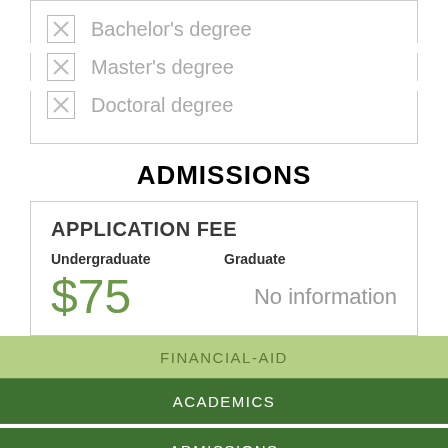Bachelor's degree
Master's degree
Doctoral degree
ADMISSIONS
APPLICATION FEE
Undergraduate    Graduate
$75    No information
FINANCIAL-AID
ACADEMICS
ADMISSIONS
STUDENT LIFE